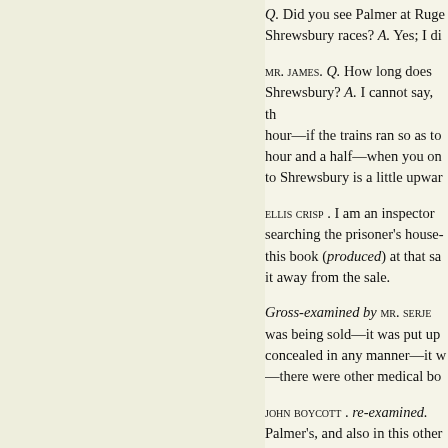Q. Did you see Palmer at Rugeley Shrewsbury races? A. Yes; I di...
MR. JAMES. Q. How long does it take to get to Shrewsbury? A. I cannot say, that is an hour—if the trains ran so as to... hour and a half—when you on... to Shrewsbury is a little upwar...
ELLIS CRISP. I am an inspector... searching the prisoner's house-... this book (produced) at that sa... it away from the sale.
Gross-examined by MR. SERJE... was being sold—it was put up ... concealed in any manner—it w... —there were other medical bo...
JOHN BOYCOTT. re-examined. ... Palmer's, and also in this other... on a fly leaf, at the commencer... causing tetanic fixing of the re...
DANIEL SCULLY BERGUM. I am...